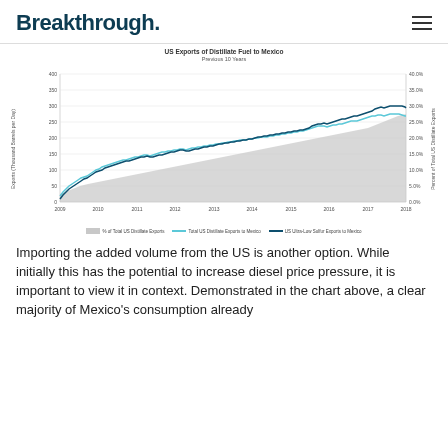Breakthrough.
[Figure (line-chart): Line chart showing US exports of distillate fuel to Mexico over previous 10 years (2009-2018). Three series: % of Total US Distillate Exports (gray shaded area), Total US Distillate Exports to Mexico (light blue line), and US Ultra-Low Sulfur Exports to Mexico (dark blue/teal line). Both volume series rise from ~50 to ~300 thousand barrels per day. The percentage rises from ~5% to ~30%.]
Importing the added volume from the US is another option. While initially this has the potential to increase diesel price pressure, it is important to view it in context. Demonstrated in the chart above, a clear majority of Mexico's consumption already